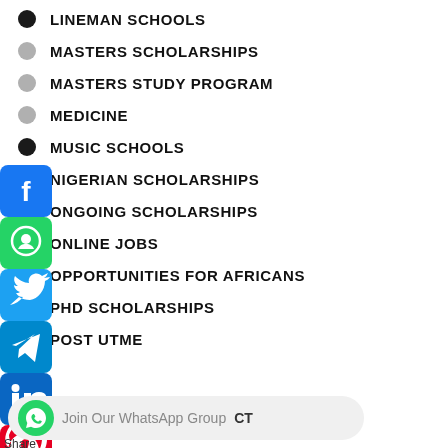LINEMAN SCHOOLS
MASTERS SCHOLARSHIPS
MASTERS STUDY PROGRAM
MEDICINE
MUSIC SCHOOLS
NIGERIAN SCHOLARSHIPS
ONGOING SCHOLARSHIPS
ONLINE JOBS
OPPORTUNITIES FOR AFRICANS
PHD SCHOLARSHIPS
POST UTME
SCHOLARSHIP TIPS